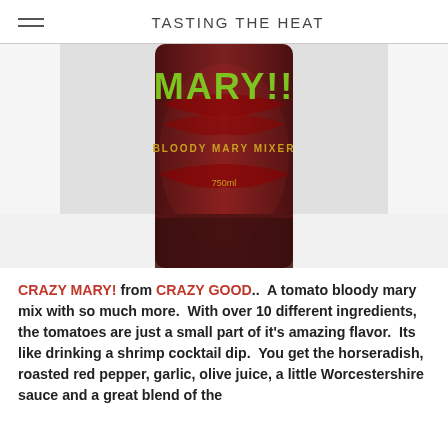TASTING THE HEAT
[Figure (photo): Photo of a dark brown bottle of Crazy Mary! Bloody Mary Mixer with green logo text and red swirl label design, 750ml]
CRAZY MARY! from CRAZY GOOD..  A tomato bloody mary mix with so much more.  With over 10 different ingredients, the tomatoes are just a small part of it's amazing flavor.  Its like drinking a shrimp cocktail dip.  You get the horseradish, roasted red pepper, garlic, olive juice, a little Worcestershire sauce and a great blend of the